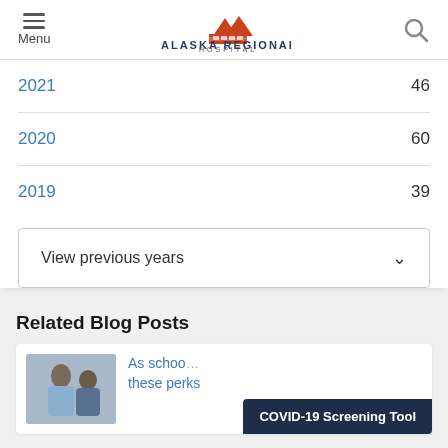Menu | Alaska Regional Hospital
| Year | Count |
| --- | --- |
| 2021 | 46 |
| 2020 | 60 |
| 2019 | 39 |
View previous years
Related Blog Posts
As school... these perks
COVID-19 Screening Tool